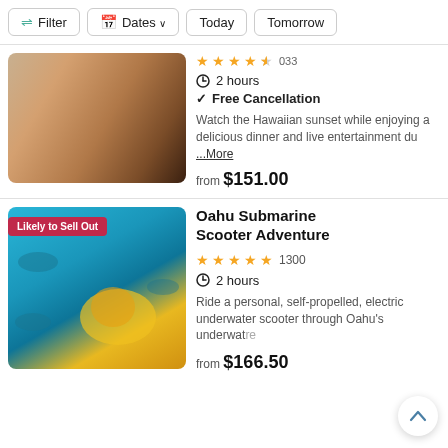Filter | Dates | Today | Tomorrow
[Figure (photo): Couple at a Hawaiian luau dinner event with a person placing a lei]
2 hours
Free Cancellation
Watch the Hawaiian sunset while enjoying a delicious dinner and live entertainment du ...More
from $151.00
[Figure (photo): Person riding a yellow underwater scooter submarine helmet surrounded by fish in blue water with Likely to Sell Out badge]
Oahu Submarine Scooter Adventure
1300
2 hours
Ride a personal, self-propelled, electric underwater scooter through Oahu's underwat ...re
from $166.50